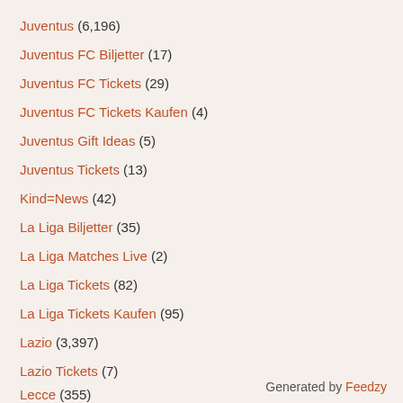Juventus (6,196)
Juventus FC Biljetter (17)
Juventus FC Tickets (29)
Juventus FC Tickets Kaufen (4)
Juventus Gift Ideas (5)
Juventus Tickets (13)
Kind=News (42)
La Liga Biljetter (35)
La Liga Matches Live (2)
La Liga Tickets (82)
La Liga Tickets Kaufen (95)
Lazio (3,397)
Lazio Tickets (7)
Lecce (355)
Generated by Feedzy